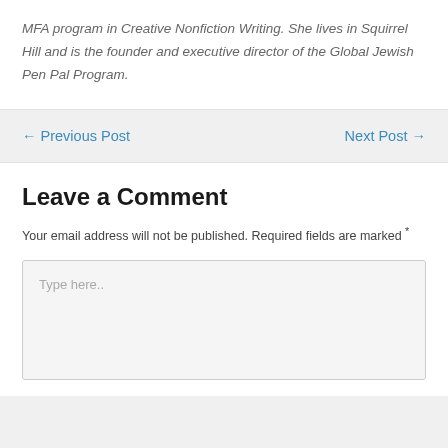MFA program in Creative Nonfiction Writing. She lives in Squirrel Hill and is the founder and executive director of the Global Jewish Pen Pal Program.
← Previous Post     Next Post →
Leave a Comment
Your email address will not be published. Required fields are marked *
Type here..